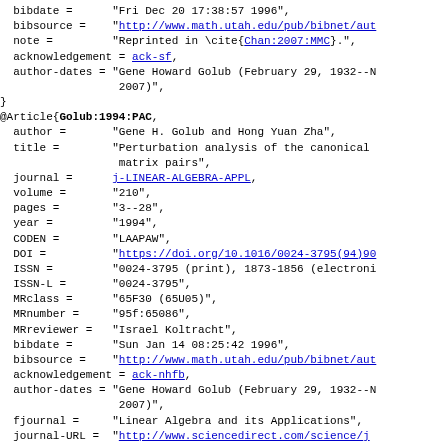bibdate = "Fri Dec 20 17:38:57 1996",
  bibsource = "http://www.math.utah.edu/pub/bibnet/au
  note = "Reprinted in \cite{Chan:2007:MMC}.",
  acknowledgement = ack-sf,
  author-dates = "Gene Howard Golub (February 29, 1932--N
                  2007)",
}
@Article{Golub:1994:PAC,
  author = "Gene H. Golub and Hong Yuan Zha",
  title = "Perturbation analysis of the canonical
           matrix pairs",
  journal = j-LINEAR-ALGEBRA-APPL,
  volume = "210",
  pages = "3--28",
  year = "1994",
  CODEN = "LAAPAW",
  DOI = "https://doi.org/10.1016/0024-3795(94)90
  ISSN = "0024-3795 (print), 1873-1856 (electroni
  ISSN-L = "0024-3795",
  MRclass = "65F30 (65U05)",
  MRnumber = "95f:65086",
  MRreviewer = "Israel Koltracht",
  bibdate = "Sun Jan 14 08:25:42 1996",
  bibsource = "http://www.math.utah.edu/pub/bibnet/aut
  acknowledgement = ack-nhfb,
  author-dates = "Gene Howard Golub (February 29, 1932--N
                  2007)",
  fjournal = "Linear Algebra and its Applications",
  journal-URL = "http://www.sciencedirect.com/science/j